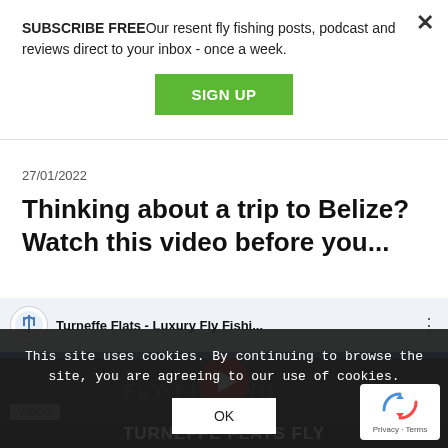SUBSCRIBE FREE Our resent fly fishing posts, podcast and reviews direct to your inbox - once a week.
SIGN UP
27/01/2022
Thinking about a trip to Belize? Watch this video before you...
[Figure (screenshot): YouTube video thumbnail for Turneffe Flats - Luxury Fly Fishi... with channel logo, play button, and VIDEO label]
TURNEFFE FLATS FLY
This site uses cookies. By continuing to browse the site, you are agreeing to our use of cookies.
OK